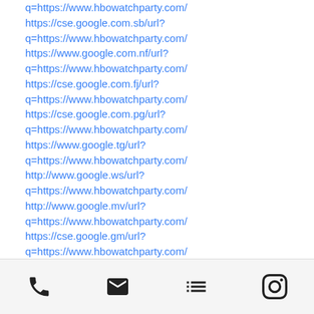q=https://www.hbowatchparty.com/
https://cse.google.com.sb/url?q=https://www.hbowatchparty.com/
https://www.google.com.nf/url?q=https://www.hbowatchparty.com/
https://cse.google.com.fj/url?q=https://www.hbowatchparty.com/
https://cse.google.com.pg/url?q=https://www.hbowatchparty.com/
https://www.google.tg/url?q=https://www.hbowatchparty.com/
http://www.google.ws/url?q=https://www.hbowatchparty.com/
http://www.google.mv/url?q=https://www.hbowatchparty.com/
https://cse.google.gm/url?q=https://www.hbowatchparty.com/
https://cse.google.com.sl/url?q=https://www.hbowatchparty.com/
https://www.google.com.er/url?